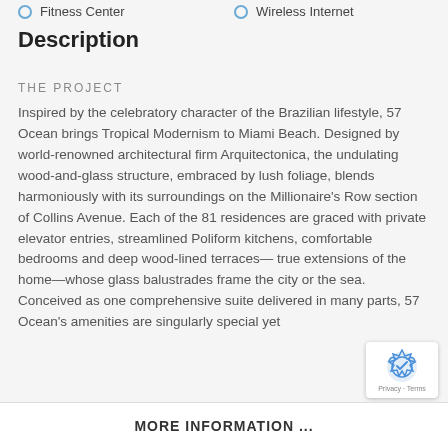Fitness Center
Wireless Internet
Description
THE PROJECT
Inspired by the celebratory character of the Brazilian lifestyle, 57 Ocean brings Tropical Modernism to Miami Beach. Designed by world-renowned architectural firm Arquitectonica, the undulating wood-and-glass structure, embraced by lush foliage, blends harmoniously with its surroundings on the Millionaire's Row section of Collins Avenue. Each of the 81 residences are graced with private elevator entries, streamlined Poliform kitchens, comfortable bedrooms and deep wood-lined terraces— true extensions of the home—whose glass balustrades frame the city or the sea. Conceived as one comprehensive suite delivered in many parts, 57 Ocean's amenities are singularly special yet
MORE INFORMATION ...